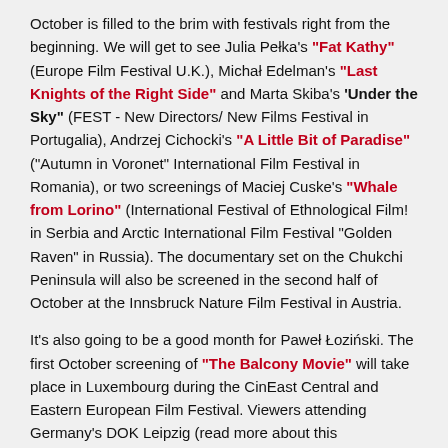October is filled to the brim with festivals right from the beginning. We will get to see Julia Pełka's "Fat Kathy" (Europe Film Festival U.K.), Michał Edelman's "Last Knights of the Right Side" and Marta Skiba's 'Under the Sky" (FEST - New Directors/ New Films Festival in Portugalia), Andrzej Cichocki's "A Little Bit of Paradise" ("Autumn in Voronet" International Film Festival in Romania), or two screenings of Maciej Cuske's "Whale from Lorino" (International Festival of Ethnological Film! in Serbia and Arctic International Film Festival "Golden Raven" in Russia). The documentary set on the Chukchi Peninsula will also be screened in the second half of October at the Innsbruck Nature Film Festival in Austria.
It's also going to be a good month for Paweł Łoziński. The first October screening of "The Balcony Movie" will take place in Luxembourg during the CinEast Central and Eastern European Film Festival. Viewers attending Germany's DOK Leipzig (read more about this competition screening here) and the Czech Ji.hlava International Documentary Film Festival will also get to watch this documentary. Łoziński's previous pandemic film – "Masks and Men" – will also enjoy three screenings. This short documentary will be screened at the DocsValencia International Documentary Film Festival in Spain (along with "Butterfly's...